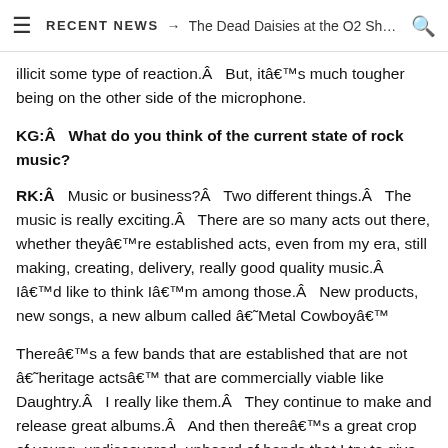≡  RECENT NEWS → The Dead Daisies at the O2 Shephe...  🔍
illicit some type of reaction.Â  But, itâ€™s much tougher being on the other side of the microphone.
KG:Â  What do you think of the current state of rock music?
RK:Â  Music or business?Â  Two different things.Â  The music is really exciting.Â  There are so many acts out there, whether theyâ€™re established acts, even from my era, still making, creating, delivery, really good quality music.Â  Iâ€™d like to think Iâ€™m among those.Â  New products, new songs, a new album called â€˜Metal Cowboyâ€™
Thereâ€™s a few bands that are established that are not â€˜heritage actsâ€™ that are commercially viable like Daughtry.Â  I really like them.Â  They continue to make and release great albums.Â  And then thereâ€™s a great crop of young, undiscovered, unheard of bands that I try to give as much coverage on my radio show to that I can.Â  It is so difficult for them to make it. Â  People now are dealing with of album sales in the hundreds.Â  Theyâ€™re really excited about selling 300